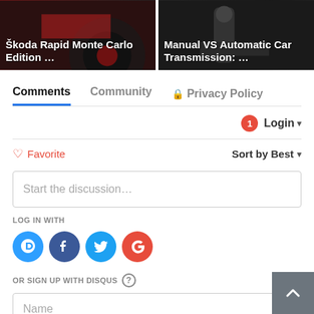[Figure (screenshot): Two article thumbnail images side by side. Left image shows a red car (Skoda Rapid Monte Carlo Edition) with white bold title text overlaid. Right image shows a car gear shift interior (Manual vs Automatic Car Transmission) with white bold title text overlaid.]
Comments	Community	🔒 Privacy Policy
🔔1  Login ▾
♡ Favorite	Sort by Best ▾
Start the discussion…
LOG IN WITH
[Figure (logo): Four social login icons in circles: Disqus (D, blue), Facebook (f, dark blue), Twitter (bird, light blue), Google (G, red)]
OR SIGN UP WITH DISQUS ?
Name